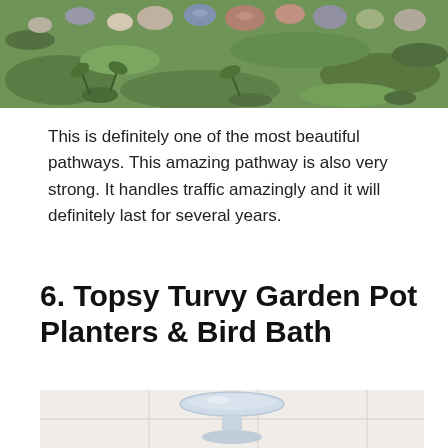[Figure (photo): Top portion of a garden pathway photo showing colorful stones/rocks nestled among green grass and moss, viewed from above.]
This is definitely one of the most beautiful pathways. This amazing pathway is also very strong. It handles traffic amazingly and it will definitely last for several years.
6. Topsy Turvy Garden Pot Planters & Bird Bath
[Figure (photo): A bird bath or garden pot planter arrangement shown in a light cream/white color, with a bowl-shaped top on a pedestal, grid overlay visible on the image.]